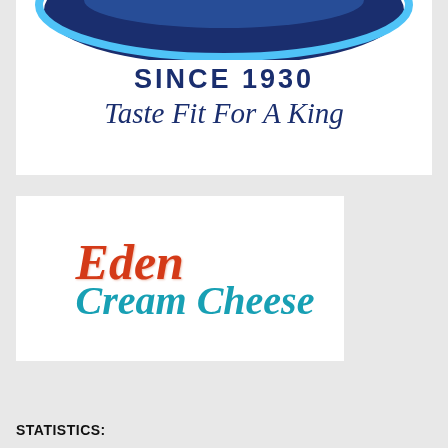[Figure (logo): Partial view of a circular logo with blue arc/rim at top, text 'SINCE 1930' in bold navy blue, and italic script tagline 'Taste Fit For A King' in navy blue on white background]
[Figure (logo): Eden Cream Cheese logo on white background: 'Eden' in red italic script, 'Cream Cheese' in teal/cyan italic script]
STATISTICS: